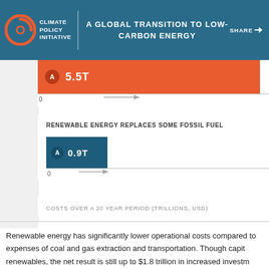CLIMATE POLICY INITIATIVE — A GLOBAL TRANSITION TO LOW-CARBON ENERGY — SHARE
[Figure (bar-chart): ]
RENEWABLE ENERGY REPLACES SOME FOSSIL FUEL GENERATION
[Figure (bar-chart): ]
COSTS OVER A 20 YEAR PERIOD (TRILLIONS, USD)
Renewable energy has significantly lower operational costs compared to expenses of coal and gas extraction and transportation. Though capital renewables, the net result is still up to $1.8 trillion in increased investment opportunities for growth and lower costs that could reverberate across